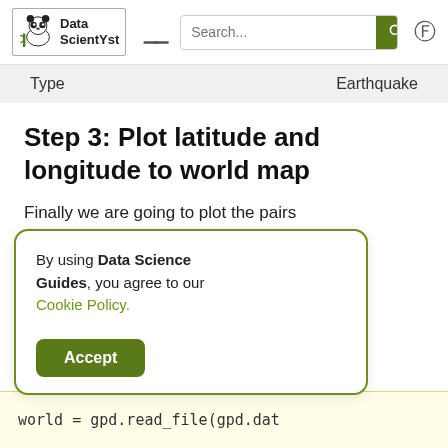Data ScientYst — Search bar and navigation header
| Type | Earthquake |
| --- | --- |
Step 3: Plot latitude and longitude to world map
Finally we are going to plot the pairs the world map. red color while
By using Data Science Guides, you agree to our Cookie Policy.
Accept
Subscribe
world = gpd.read_file(gpd.dat